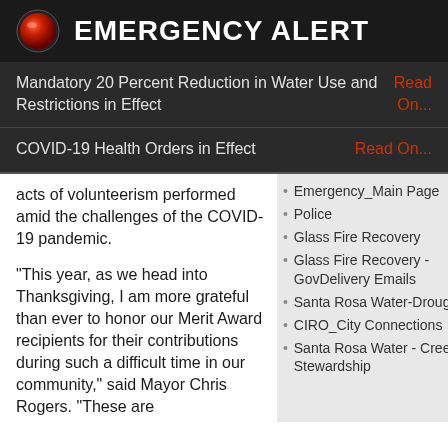EMERGENCY ALERT
Mandatory 20 Percent Reduction in Water Use and Restrictions in Effect Read On...
COVID-19 Health Orders in Effect Read On...
acts of volunteerism performed amid the challenges of the COVID-19 pandemic.

“This year, as we head into Thanksgiving, I am more grateful than ever to honor our Merit Award recipients for their contributions during such a difficult time in our community,” said Mayor Chris Rogers. “These are
Emergency_Main Page
Police
Glass Fire Recovery
Glass Fire Recovery - GovDelivery Emails
Santa Rosa Water-Drought
CIRO_City Connections
Santa Rosa Water - Creek Stewardship